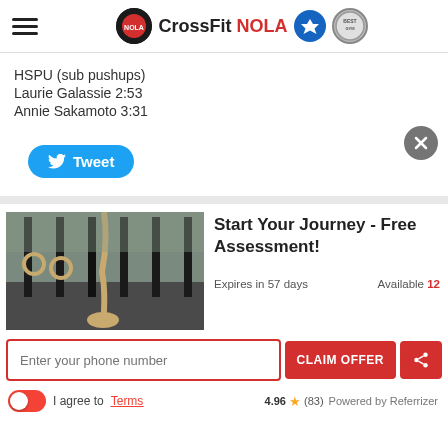CrossFit NOLA
HSPU (sub pushups)
Laurie Galassie 2:53
Annie Sakamoto 3:31
[Figure (screenshot): Tweet button (blue rounded button with Twitter bird icon)]
[Figure (photo): CrossFit gym interior with ropes and rings hanging from black rig]
Start Your Journey - Free Assessment!
Expires in 57 days
Available 12
Enter your phone number
CLAIM OFFER
I agree to Terms
4.96 ★ (83)  Powered by Referrizer